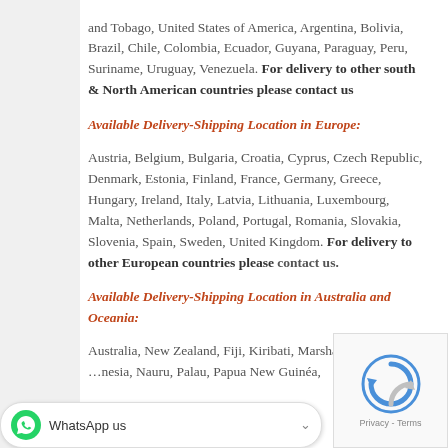and Tobago, United States of America, Argentina, Bolivia, Brazil, Chile, Colombia, Ecuador, Guyana, Paraguay, Peru, Suriname, Uruguay, Venezuela. For delivery to other south & North American countries please contact us
Available Delivery-Shipping Location in Europe:
Austria, Belgium, Bulgaria, Croatia, Cyprus, Czech Republic, Denmark, Estonia, Finland, France, Germany, Greece, Hungary, Ireland, Italy, Latvia, Lithuania, Luxembourg, Malta, Netherlands, Poland, Portugal, Romania, Slovakia, Slovenia, Spain, Sweden, United Kingdom. For delivery to other European countries please contact us.
Available Delivery-Shipping Location in Australia and Oceania:
Australia, New Zealand, Fiji, Kiribati, Marshall Islands, ...nesia, Nauru, Palau, Papua New Guinea,